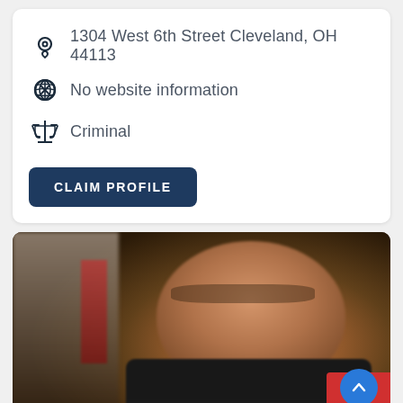1304 West 6th Street Cleveland, OH 44113
No website information
Criminal
CLAIM PROFILE
[Figure (photo): Photo of a person wearing glasses and a dark jacket with a red stripe, in an indoor setting. The image is somewhat blurry.]